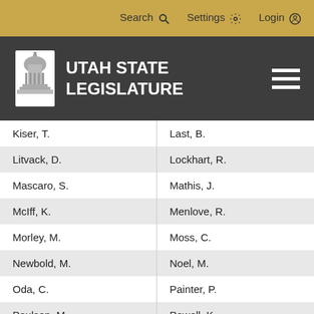Search  Settings  Login
[Figure (logo): Utah State Legislature logo with capitol building icon and text UTAH STATE LEGISLATURE]
| Kiser, T. | Last, B. |
| Litvack, D. | Lockhart, R. |
| Mascaro, S. | Mathis, J. |
| McIff, K. | Menlove, R. |
| Morley, M. | Moss, C. |
| Newbold, M. | Noel, M. |
| Oda, C. | Painter, P. |
| Poulson, M. | Powell, K. |
| Ray, P. | Riesen, P. |
| Sandstrom, S. | Seegmiller, F.J. |
| Seelig, J. | Sumsion, K. |
| Vickers, E. | Wallis, C. B. |
| Watkins, C. | Webb, R. C. |
| Wheatley, M. | Wilcox, R. |
| Wiley, L. | Wimmer, C. |
| Winn, B. |  |